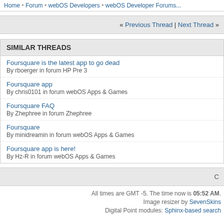Home • Forum • webOS Developers • webOS Developer Forums
« Previous Thread | Next Thread »
SIMILAR THREADS
Foursquare is the latest app to go dead
By rboerger in forum HP Pre 3
Foursquare app
By chris0101 in forum webOS Apps & Games
Foursquare FAQ
By Zhephree in forum Zhephree
Foursquare
By minidreamin in forum webOS Apps & Games
Foursquare app is here!
By Hz-R in forum webOS Apps & Games
C
All times are GMT -5. The time now is 05:52 AM.
Image resizer by SevenSkins
Digital Point modules: Sphinx-based search